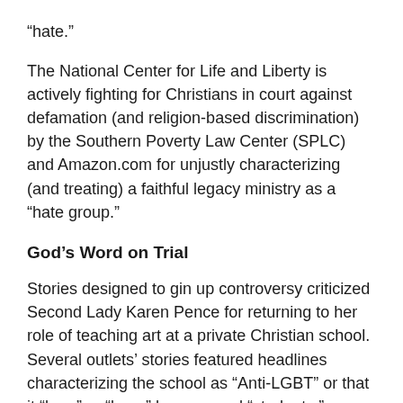“hate.”
The National Center for Life and Liberty is actively fighting for Christians in court against defamation (and religion-based discrimination) by the Southern Poverty Law Center (SPLC) and Amazon.com for unjustly characterizing (and treating) a faithful legacy ministry as a “hate group.”
God’s Word on Trial
Stories designed to gin up controversy criticized Second Lady Karen Pence for returning to her role of teaching art at a private Christian school. Several outlets’ stories featured headlines characterizing the school as “Anti-LGBT” or that it “bars” or “bans” homosexual “students,” “employees,” or “people.”
Immanuel Christian School’s code of conduct simply reflects biblical beliefs about marriage. Several